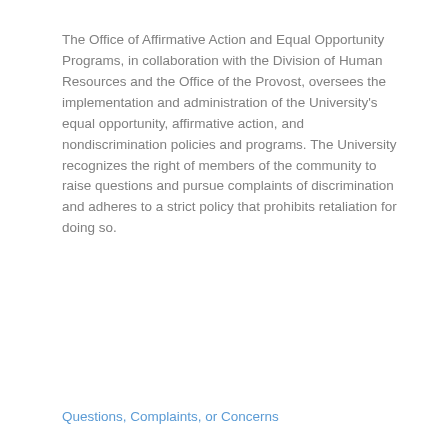The Office of Affirmative Action and Equal Opportunity Programs, in collaboration with the Division of Human Resources and the Office of the Provost, oversees the implementation and administration of the University's equal opportunity, affirmative action, and nondiscrimination policies and programs. The University recognizes the right of members of the community to raise questions and pursue complaints of discrimination and adheres to a strict policy that prohibits retaliation for doing so.
Questions, Complaints, or Concerns